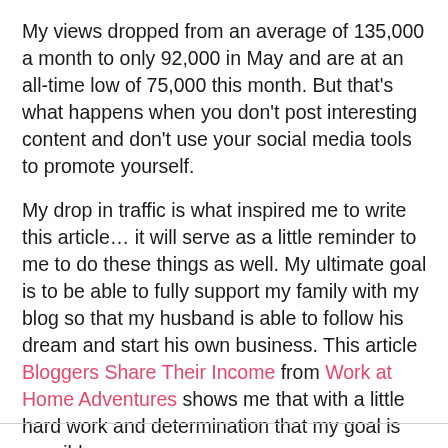My views dropped from an average of 135,000 a month to only 92,000 in May and are at an all-time low of 75,000 this month. But that's what happens when you don't post interesting content and don't use your social media tools to promote yourself.
My drop in traffic is what inspired me to write this article… it will serve as a little reminder to me to do these things as well. My ultimate goal is to be able to fully support my family with my blog so that my husband is able to follow his dream and start his own business. This article Bloggers Share Their Income from Work at Home Adventures shows me that with a little hard work and determination that my goal is possible.